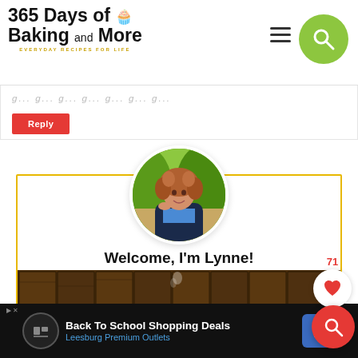365 Days of Baking and More – EVERYDAY RECIPES FOR LIFE
g...g...g... (partial comment text)
Reply
[Figure (photo): Circular profile photo of Lynne, a woman with curly reddish-brown hair wearing a dark jacket over a blue top, seated outdoors with green trees in background]
Welcome, I'm Lynne!
[Figure (photo): Kitchen photo showing dark wood cabinet doors]
[Figure (infographic): Advertisement banner: Back To School Shopping Deals – Leesburg Premium Outlets, with navigation icon and Wayfair logo]